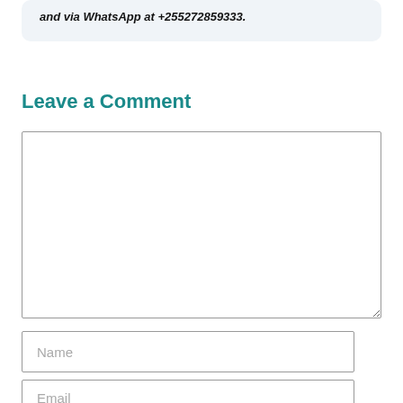and via WhatsApp at +255272859333.
Leave a Comment
[Figure (other): Empty comment textarea input box]
[Figure (other): Name input field with placeholder text 'Name']
[Figure (other): Email input field with placeholder text 'Email']